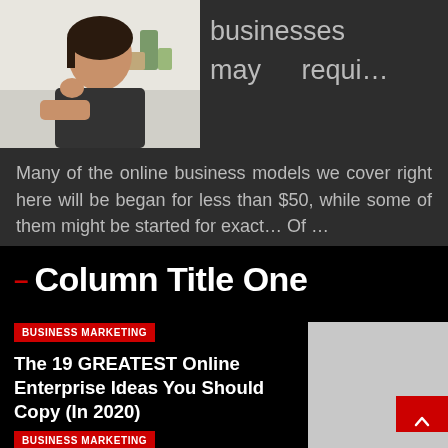[Figure (photo): Photo of a woman sitting at a desk, upper portion of a webpage article card]
businesses may requi…
Many of the online business models we cover right here will be began for less than $50, while some of them might be started for exact… Of …
Column Title One
BUSINESS MARKETING
The 19 GREATEST Online Enterprise Ideas You Should Copy (In 2020)
Setria — 19/08/2022
[Figure (photo): Gray placeholder thumbnail image with red scroll-to-top button]
BUSINESS MARKETING
[Figure (photo): Gray placeholder thumbnail image at bottom right]